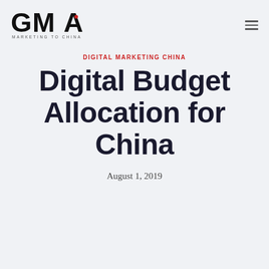GMA MARKETING TO CHINA
DIGITAL MARKETING CHINA
Digital Budget Allocation for China
August 1, 2019